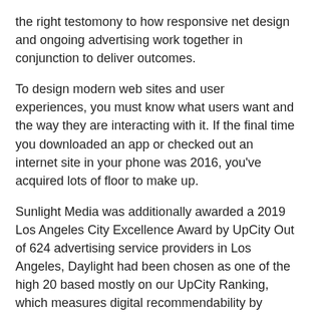the right testomony to how responsive net design and ongoing advertising work together in conjunction to deliver outcomes.
To design modern web sites and user experiences, you must know what users want and the way they are interacting with it. If the final time you downloaded an app or checked out an internet site in your phone was 2016, you've acquired lots of floor to make up.
Sunlight Media was additionally awarded a 2019 Los Angeles City Excellence Award by UpCity Out of 624 advertising service providers in Los Angeles, Daylight had been chosen as one of the high 20 based mostly on our UpCity Ranking, which measures digital recommendability by opinions, search rating, area authority and extra.
Though Wix can't rival Shopify when constructing a 'pure' on-line store, it is perfect for people who just want to have a store part on their website. With experience you might